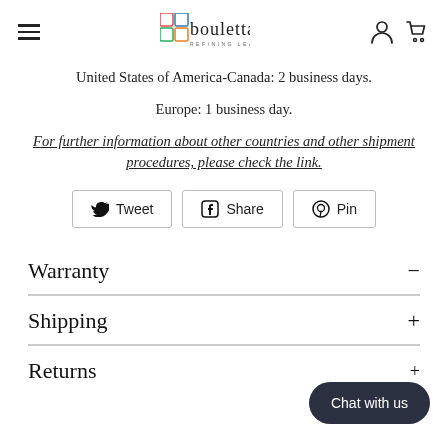Bouletta – Refining Leather (header with logo, hamburger menu, account and cart icons)
United States of America-Canada: 2 business days.
Europe: 1 business day.
For further information about other countries and other shipment procedures, please check the link.
[Figure (infographic): Three social sharing buttons: Tweet (Twitter), Share (Facebook), Pin (Pinterest)]
Warranty
Shipping
Returns